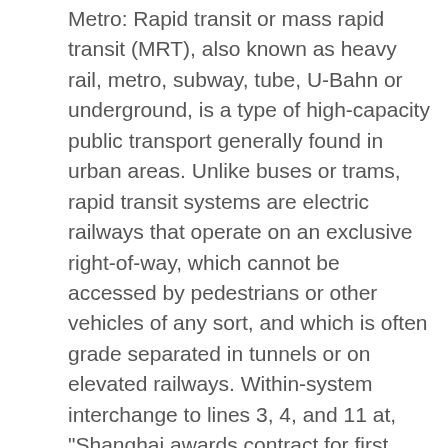Metro: Rapid transit or mass rapid transit (MRT), also known as heavy rail, metro, subway, tube, U-Bahn or underground, is a type of high-capacity public transport generally found in urban areas. Unlike buses or trams, rapid transit systems are electric railways that operate on an exclusive right-of-way, which cannot be accessed by pedestrians or other vehicles of any sort, and which is often grade separated in tunnels or on elevated railways. Within-system interchange to lines 3, 4, and 11 at, "Shanghai awards contract for first automated metro line". Stations of Shanghai Metro Line 14â      (5 C) Media in category "Shanghai Metro Line 14" The following 2 files are in this category, out of 2 total. Select from premium Tour Of Shanghai Metro Line 14 Construction Site of the highest quality. Find high-quality Tour Of Shanghai Metro Line 14 Construction Site stock photos and editorial news pictures from